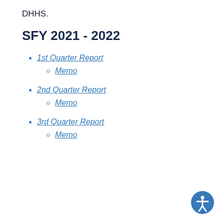DHHS.
SFY 2021 - 2022
1st Quarter Report
Memo
2nd Quarter Report
Memo
3rd Quarter Report
Memo
[Figure (illustration): Blue accessibility icon (person with arms and legs spread) in a circular blue background, bottom-right corner]